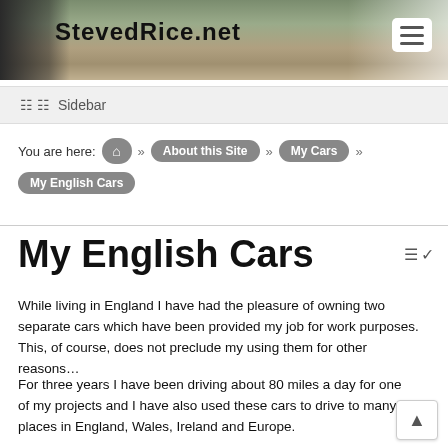[Figure (screenshot): Website header banner for stevedrice.net showing a person standing against a brick wall with foliage, site logo text, and a hamburger menu button]
Sidebar
You are here:  »  About this Site  »  My Cars  »  My English Cars
My English Cars
While living in England I have had the pleasure of owning two separate cars which have been provided my job for work purposes. This, of course, does not preclude my using them for other reasons…
For three years I have been driving about 80 miles a day for one of my projects and I have also used these cars to drive to many places in England, Wales, Ireland and Europe.